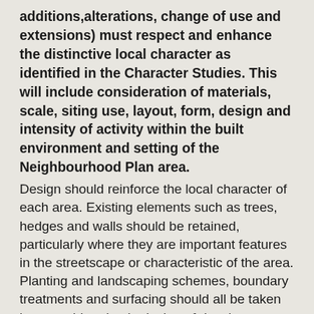additions,alterations, change of use and extensions) must respect and enhance the distinctive local character as identified in the Character Studies. This will include consideration of materials, scale, siting use, layout, form, design and intensity of activity within the built environment and setting of the Neighbourhood Plan area.
Design should reinforce the local character of each area. Existing elements such as trees, hedges and walls should be retained, particularly where they are important features in the streetscape or characteristic of the area. Planting and landscaping schemes, boundary treatments and surfacing should all be taken into consideration in design of development. The layout and design of new streets and associated infrastructure should also respond to local character